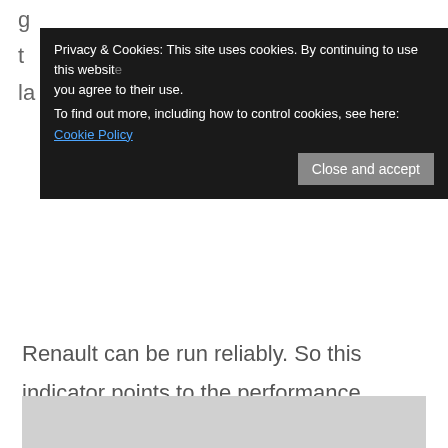g... t... l...
Privacy & Cookies: This site uses cookies. By continuing to use this website you agree to their use.
To find out more, including how to control cookies, see here: Cookie Policy
Close and accept
Renault can be run reliably. So this indicator points to the performance deficit. Sleepless nights in Viry-Chatillon is an easy assumption…
Here are the reliability figures for Bahrain broken down by team.
[Figure (other): Gray rectangular placeholder area at bottom of page]